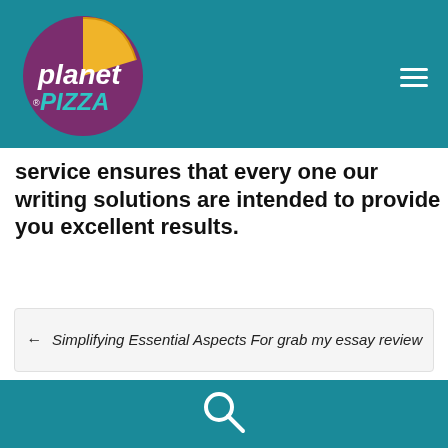[Figure (logo): Planet Pizza logo — circular purple background with a yellow pizza slice and white text reading 'planet PIZZA']
service ensures that every one our writing solutions are intended to provide you excellent results.
← Simplifying Essential Aspects For grab my essay review
Painless Solutions In advance review writing — A...
[Figure (illustration): Search magnifying glass icon in white on teal footer background]